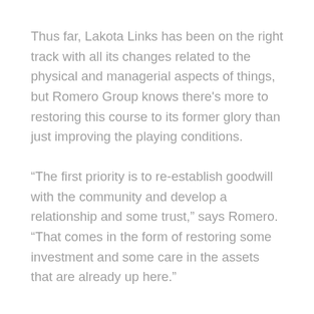Thus far, Lakota Links has been on the right track with all its changes related to the physical and managerial aspects of things, but Romero Group knows there’s more to restoring this course to its former glory than just improving the playing conditions.
“The first priority is to re-establish goodwill with the community and develop a relationship and some trust,” says Romero. “That comes in the form of restoring some investment and some care in the assets that are already up here.”